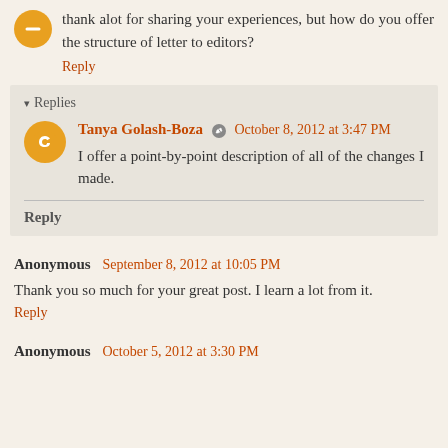thank alot for sharing your experiences, but how do you offer the structure of letter to editors?
Reply
Replies
Tanya Golash-Boza  October 8, 2012 at 3:47 PM
I offer a point-by-point description of all of the changes I made.
Reply
Anonymous September 8, 2012 at 10:05 PM
Thank you so much for your great post. I learn a lot from it.
Reply
Anonymous October 5, 2012 at 3:30 PM